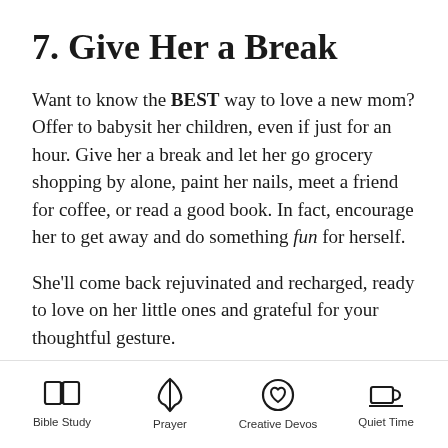7. Give Her a Break
Want to know the BEST way to love a new mom? Offer to babysit her children, even if just for an hour. Give her a break and let her go grocery shopping by alone, paint her nails, meet a friend for coffee, or read a good book. In fact, encourage her to get away and do something fun for herself.
She'll come back rejuvinated and recharged, ready to love on her little ones and grateful for your thoughtful gesture.
Bible Study   Prayer   Creative Devos   Quiet Time